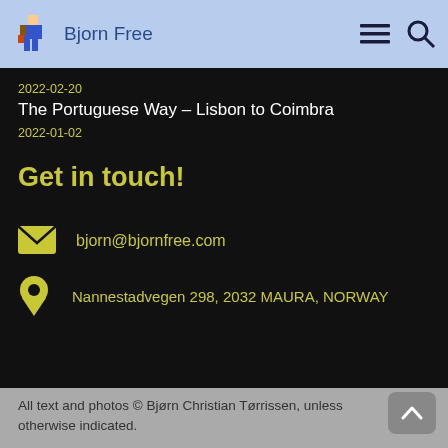Bjorn Free
2022-02-20
The Portuguese Way – Lisbon to Coimbra
2022-01-02
Get in touch!
bjorn@bjornfree.com
Nannestadvegen 298, 2032 MAURA, NORWAY
All text and photos © Bjørn Christian Tørrissen, unless otherwise indicated.